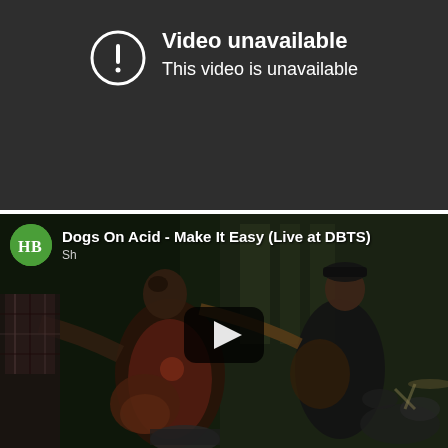[Figure (screenshot): YouTube 'Video unavailable' error screen. Dark grey background with a circular exclamation mark icon on the left and white text reading 'Video unavailable' (title) and 'This video is unavailable' (subtitle) on the right.]
[Figure (screenshot): YouTube video player thumbnail showing a live band performance. Top bar shows a green circular channel avatar with 'HB' logo, video title 'Dogs On Acid - Make It Easy (Live at DBTS)', and a YouTube play button overlay in the center. Band members playing guitar and drums visible in a dimly lit indoor venue.]